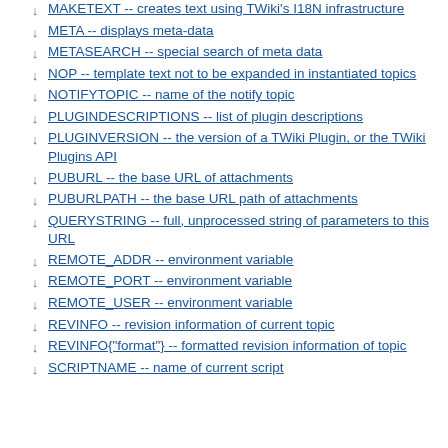MAKETEXT -- creates text using TWiki's I18N infrastructure
META -- displays meta-data
METASEARCH -- special search of meta data
NOP -- template text not to be expanded in instantiated topics
NOTIFYTOPIC -- name of the notify topic
PLUGINDESCRIPTIONS -- list of plugin descriptions
PLUGINVERSION -- the version of a TWiki Plugin, or the TWiki Plugins API
PUBURL -- the base URL of attachments
PUBURLPATH -- the base URL path of attachments
QUERYSTRING -- full, unprocessed string of parameters to this URL
REMOTE_ADDR -- environment variable
REMOTE_PORT -- environment variable
REMOTE_USER -- environment variable
REVINFO -- revision information of current topic
REVINFO{"format"} -- formatted revision information of topic
SCRIPTNAME -- name of current script